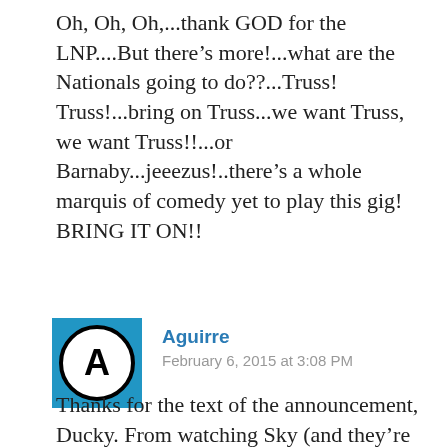Oh, Oh, Oh,...thank GOD for the LNP....But there's more!...what are the Nationals going to do??...Truss! Truss!...bring on Truss...we want Truss, we want Truss!!...or Barnaby...jeeezus!..there's a whole marquis of comedy yet to play this gig!
BRING IT ON!!
[Figure (illustration): Avatar icon: blue square background with a circular logo containing the letter A in bold black on white circle with black border]
Aguirre
February 6, 2015 at 3:08 PM
Thanks for the text of the announcement, Ducky. From watching Sky (and they're handling this really badly, never seen such jumping at shadows), I would say that Bishop has